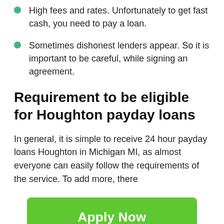High fees and rates. Unfortunately to get fast cash, you need to pay a loan.
Sometimes dishonest lenders appear. So it is important to be careful, while signing an agreement.
Requirement to be eligible for Houghton payday loans
In general, it is simple to receive 24 hour payday loans Houghton in Michigan MI, as almost everyone can easily follow the requirements of the service. To add more, there
[Figure (other): Green 'Apply Now' button]
Applying does NOT affect your credit score!
No credit check to apply.